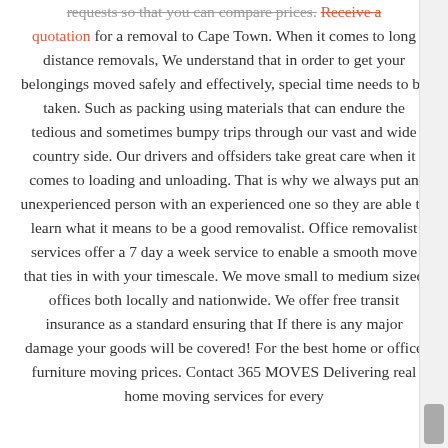requests so that you can compare prices. Receive a quotation for a removal to Cape Town. When it comes to long distance removals, We understand that in order to get your belongings moved safely and effectively, special time needs to be taken. Such as packing using materials that can endure the tedious and sometimes bumpy trips through our vast and wide country side. Our drivers and offsiders take great care when it comes to loading and unloading. That is why we always put an unexperienced person with an experienced one so they are able to learn what it means to be a good removalist. Office removalist services offer a 7 day a week service to enable a smooth move that ties in with your timescale. We move small to medium sized offices both locally and nationwide. We offer free transit insurance as a standard ensuring that If there is any major damage your goods will be covered! For the best home or office furniture moving prices. Contact 365 MOVES Delivering real home moving services for every